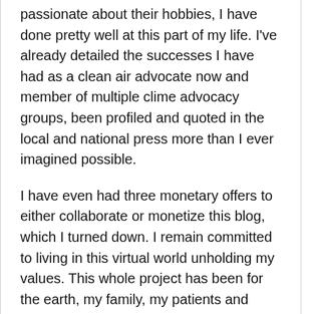passionate about their hobbies, I have done pretty well at this part of my life. I've already detailed the successes I have had as a clean air advocate now and member of multiple clime advocacy groups, been profiled and quoted in the local and national press more than I ever imagined possible.
I have even had three monetary offers to either collaborate or monetize this blog, which I turned down. I remain committed to living in this virtual world unholding my values. This whole project has been for the earth, my family, my patients and ultiimately it has been for fun. I don't monetize it because as my older brother told me, it would take the joy out of it. Only if it stays fun, will it live on.
I think why I keep on chugging along my happy path is that I get to experience so many new things through this project. I did a particularly long walk...